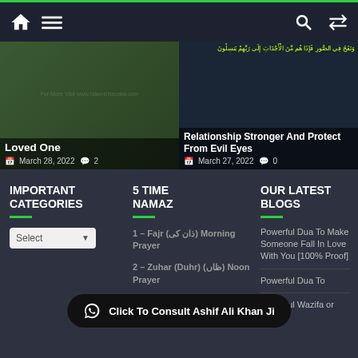Navigation bar with home icon, menu icon, search icon, shuffle icon
[Figure (screenshot): Blog card left: 'Loved One' post dated March 28, 2022 with 2 comments, green background with Islamic website watermark]
[Figure (screenshot): Blog card right: 'Relationship Stronger And Protect From Evil Eyes' post dated March 27, 2022 with 0 comments, dark background with Arabic text]
IMPORTANT CATEGORIES
5 TIME NAMAZ
OUR LATEST BLOGS
1 – Fajr (ذان کی) Morning Prayer
2 – Zuhar (Duhr) (ظاں) Noon Prayer
Powerful Dua To Make Someone Fall In Love With You [100% Proof]
Powerful Dua To
Powerful Wazifa or
Click To Consult Ashif Ali Khan Ji